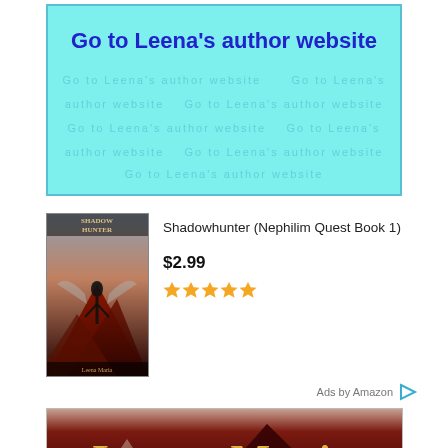[Figure (other): Cyan/turquoise banner with bold blue link text reading 'Go to Leena's author website' and faint watermark text below]
[Figure (other): Book cover thumbnail for 'Shadowhunter (Nephilim Quest Book 1)' showing a dark fantasy scene with a figure and red mountains against dark sky, author name Leena Maria at bottom]
Shadowhunter (Nephilim Quest Book 1)
$2.99
Ads by Amazon
[Figure (illustration): Leena Maria author banner with Egyptian pyramids background, gold stylized text 'Leena Maria' and yellow text below: 'Sign up for Leena Maria's newsletter and read the new books before anyone else']